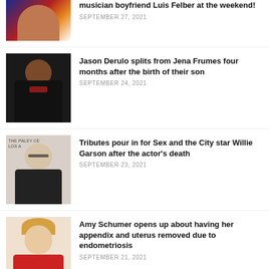[Figure (photo): Partial photo of a woman in colorful orange and patterned outfit at top of page]
musician boyfriend Luis Felber at the weekend!
SEPTEMBER 27, 2021
[Figure (photo): Photo of Jason Derulo in black tuxedo with burgundy lapels]
Jason Derulo splits from Jena Frumes four months after the birth of their son
SEPTEMBER 24, 2021
[Figure (photo): Photo of Willie Garson at The Paley Center Los Angeles event, bald man with glasses in dark jacket]
Tributes pour in for Sex and the City star Willie Garson after the actor's death
SEPTEMBER 23, 2021
[Figure (photo): Photo of Amy Schumer in red dress with blonde hair]
Amy Schumer opens up about having her appendix and uterus removed due to endometriosis
SEPTEMBER 21, 2021